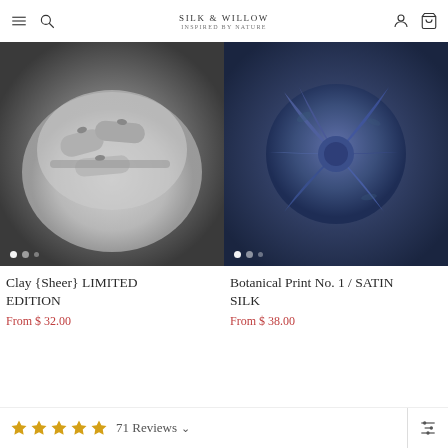SILK & WILLOW / INSPIRED BY NATURE
[Figure (photo): Greyscale photo of rolled fabric/ribbons tied with small bows in a white ceramic bowl, with carousel dots overlay]
Clay {Sheer} LIMITED EDITION
From $ 32.00
[Figure (photo): Photo of deep blue botanical print satin silk fabric folded into a flower/bow shape on a dark slate surface, with carousel dots overlay]
Botanical Print No. 1 / SATIN SILK
From $ 38.00
71 Reviews